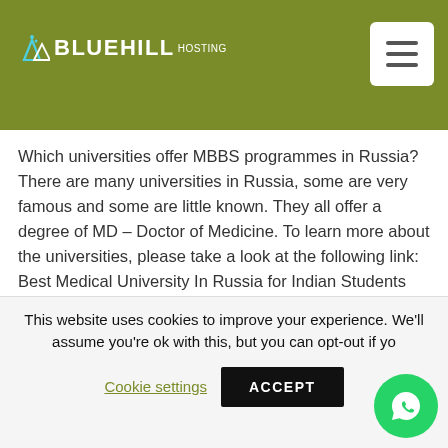BLUEHILL HOSTING
Which universities offer MBBS programmes in Russia? There are many universities in Russia, some are very famous and some are little known. They all offer a degree of MD – Doctor of Medicine. To learn more about the universities, please take a look at the following link: Best Medical University In Russia for Indian Students Prospective students need to pay close attention to the details such as the admission process and what the admission fees will be like. It is advised that you take into good account how the university covers the cost of education and how
This website uses cookies to improve your experience. We'll assume you're ok with this, but you can opt-out if yo
Cookie settings   ACCEPT